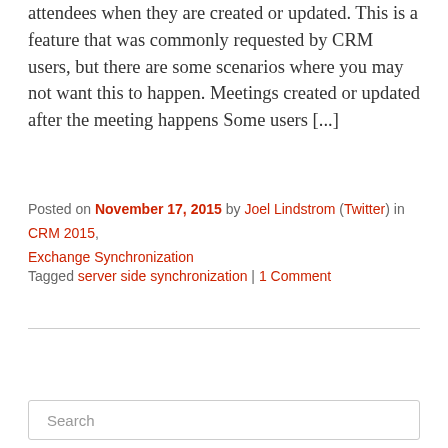attendees when they are created or updated. This is a feature that was commonly requested by CRM users, but there are some scenarios where you may not want this to happen. Meetings created or updated after the meeting happens Some users [...]
Posted on November 17, 2015 by Joel Lindstrom (Twitter) in CRM 2015, Exchange Synchronization
Tagged server side synchronization | 1 Comment